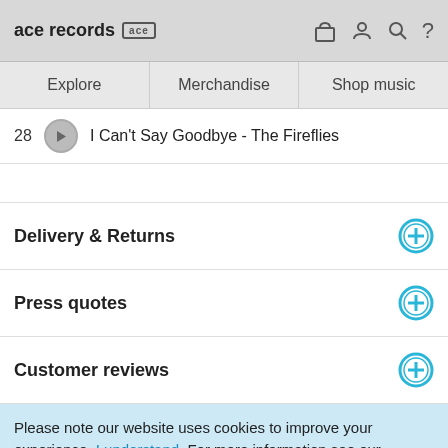ace records
Explore | Merchandise | Shop music
28  I Can't Say Goodbye - The Fireflies
Delivery & Returns
Press quotes
Customer reviews
Please note our website uses cookies to improve your experience. I understand. For more information see our Privacy Notice & Cookie Policy.